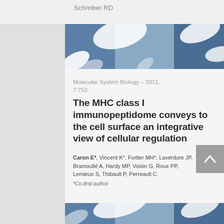Schreiber RD
[Figure (photo): Abstract decorative photo with blurred blue-gray and white oval shapes on a dark blue background, used as article banner]
Molecular System Biology – 2011, 7:753
The MHC class I immunopeptidome conveys to the cell surface an integrative view of cellular regulation
Caron E*, Vincent K*, Fortier MH*, Laverdure JP, Bramoullé A, Hardy MP, Voisin G, Roux PP, Lemieux S, Thibault P, Perreault C.
*Co-first author
[Figure (photo): Partial decorative banner photo at bottom of card, same style as top banner]